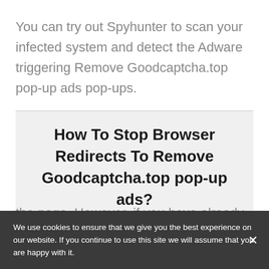You can try out Spyhunter to scan your infected system and detect the Adware triggering Remove Goodcaptcha.top pop-up ads pop-ups.
How To Stop Browser Redirects To Remove Goodcaptcha.top pop-up ads?
the page. However, if you have already done so then you need to remove the permissions
We use cookies to ensure that we give you the best experience on our website. If you continue to use this site we will assume that you are happy with it.